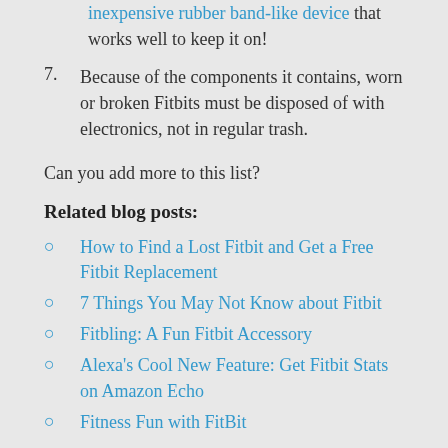(continuation) inexpensive rubber band-like device that works well to keep it on!
7. Because of the components it contains, worn or broken Fitbits must be disposed of with electronics, not in regular trash.
Can you add more to this list?
Related blog posts:
How to Find a Lost Fitbit and Get a Free Fitbit Replacement
7 Things You May Not Know about Fitbit
Fitbling: A Fun Fitbit Accessory
Alexa's Cool New Feature: Get Fitbit Stats on Amazon Echo
Fitness Fun with FitBit